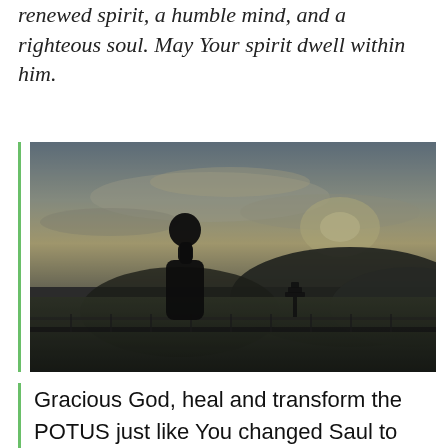renewed spirit, a humble mind, and a righteous soul. May Your spirit dwell within him.
[Figure (photo): Silhouette of a person with hands pressed together in prayer, standing on an elevated outdoor platform or balcony overlooking a landscape with hills and a dramatic cloudy sky at dusk or dawn. A small pagoda structure is visible in the background.]
Gracious God, heal and transform the POTUS just like You changed Saul to Paul, a tender and righteous one who